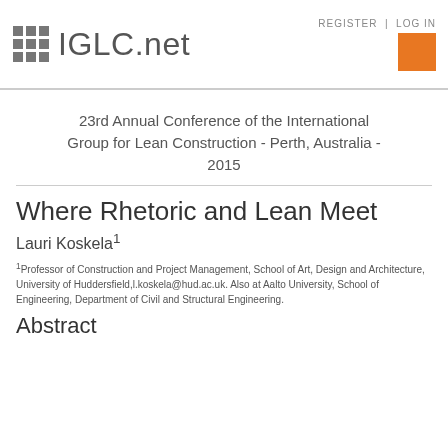IGLC.net | REGISTER | LOG IN
23rd Annual Conference of the International Group for Lean Construction - Perth, Australia - 2015
Where Rhetoric and Lean Meet
Lauri Koskela¹
¹Professor of Construction and Project Management, School of Art, Design and Architecture, University of Huddersfield,l.koskela@hud.ac.uk. Also at Aalto University, School of Engineering, Department of Civil and Structural Engineering.
Abstract